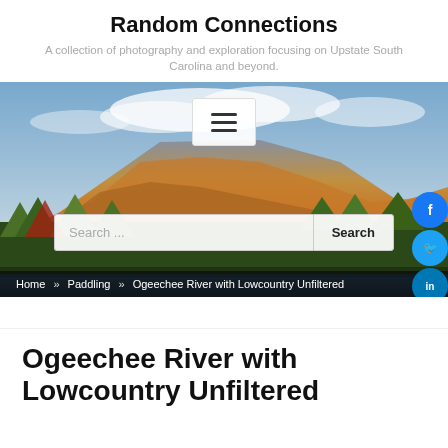Random Connections
A collection of photography and exploration focusing on Upstate South Carolina and beyond.
[Figure (screenshot): Hero landscape photo of a mountain covered in autumn foliage with a blue sky and clouds, a lake in the foreground, with a hamburger menu button overlay and a search bar]
Home » Paddling » Ogeechee River with Lowcountry Unfiltered
Ogeechee River with Lowcountry Unfiltered